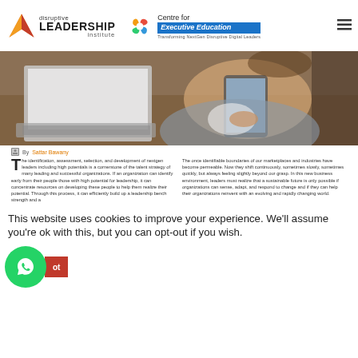[Figure (logo): Disruptive Leadership Institute logo with orange/red arrow and text]
[Figure (logo): Centre for Executive Education logo with blue banner and colorful icon]
[Figure (photo): Woman using tablet at desk with laptop, business setting]
By Sattar Bawany
The identification, assessment, selection, and development of nextgen leaders including high potentials is a cornerstone of the talent strategy of many leading and successful organizations. If an organization can identify early from their people those with high potential for leadership, it can concentrate resources on developing these people to help them realize their potential. Through this process, it can efficiently build up a leadership bench strength and a ...
The once identifiable boundaries of our marketplaces and industries have become permeable. Now they shift continuously, sometimes slowly, sometimes quickly, but always feeling slightly beyond our grasp. In this new business environment, leaders must realize that a sustainable future is only possible if organizations can sense, adapt, and respond to change and if they can help their organizations reinvent with an evolving and rapidly changing world.
This website uses cookies to improve your experience. We'll assume you're ok with this, but you can opt-out if you wish.
[Figure (other): WhatsApp chat button (green circle with icon) and orange opt-out button]